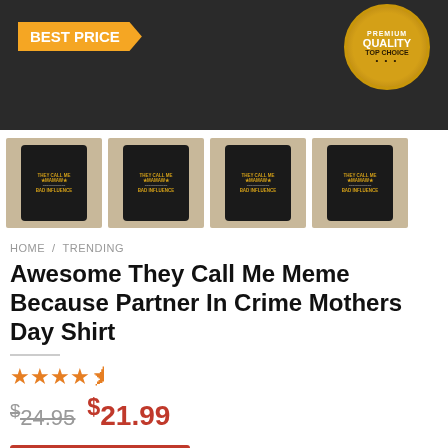[Figure (photo): Main product hero image of a black t-shirt with 'They Call Me Mamaw Bad Influence' text and graphic, with orange 'BEST PRICE' badge on left and gold 'PREMIUM QUALITY TOP CHOICE' badge on right]
[Figure (photo): Four thumbnail images of the product shirt in different styles/angles showing 'They Call Me Mamaw Bad Influence' design]
HOME / TRENDING
Awesome They Call Me Meme Because Partner In Crime Mothers Day Shirt
[Figure (infographic): Star rating showing approximately 4.5 out of 5 stars]
$24.95  $21.99
BUY NOW
SKU: